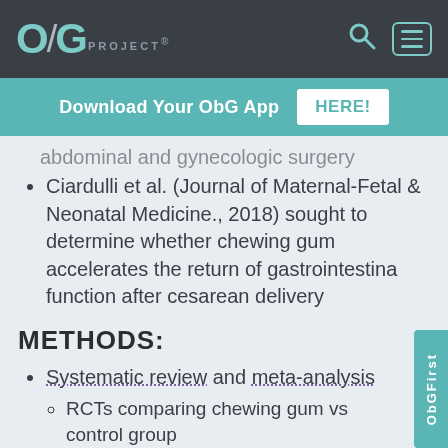OBG PROJECT®
Download Your ObG App HERE!
abdominal and gynecologic surgery
Ciardulli et al. (Journal of Maternal-Fetal & Neonatal Medicine., 2018) sought to determine whether chewing gum accelerates the return of gastrointestinal function after cesarean delivery
METHODS:
Systematic review and meta-analysis
RCTs comparing chewing gum vs control group